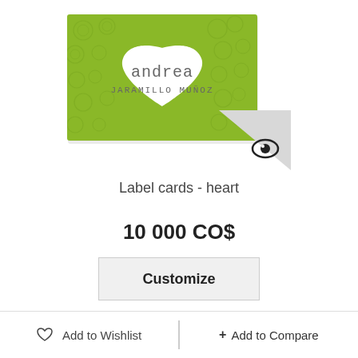[Figure (illustration): Product image showing a green label card with a white heart shape in the center containing the text 'andrea JARAMILLO MUÑOZ' in decorative handwritten font. A triangular corner badge with an eye icon is visible in the bottom right.]
Label cards - heart
10 000 CO$
Customize
Add to Wishlist
+ Add to Compare